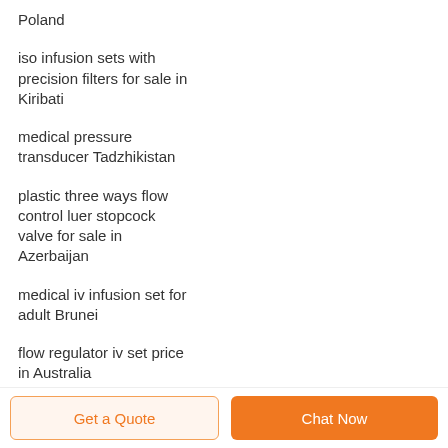Poland
iso infusion sets with precision filters for sale in Kiribati
medical pressure transducer Tadzhikistan
plastic three ways flow control luer stopcock valve for sale in Azerbaijan
medical iv infusion set for adult Brunei
flow regulator iv set price in Australia